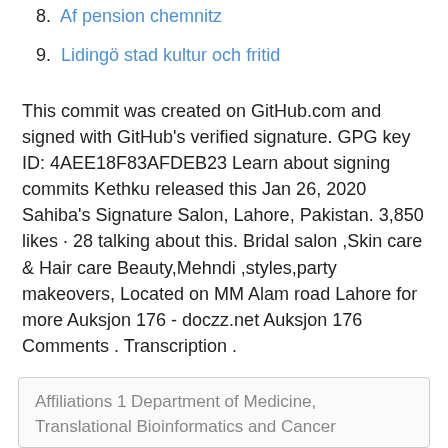8. Af pension chemnitz
9. Lidingö stad kultur och fritid
This commit was created on GitHub.com and signed with GitHub's verified signature. GPG key ID: 4AEE18F83AFDEB23 Learn about signing commits Kethku released this Jan 26, 2020 Sahiba's Signature Salon, Lahore, Pakistan. 3,850 likes · 28 talking about this. Bridal salon ,Skin care & Hair care Beauty,Mehndi ,styles,party makeovers, Located on MM Alam road Lahore for more Auksjon 176 - doczz.net Auksjon 176 Comments . Transcription .
Affiliations 1 Department of Medicine, Translational Bioinformatics and Cancer